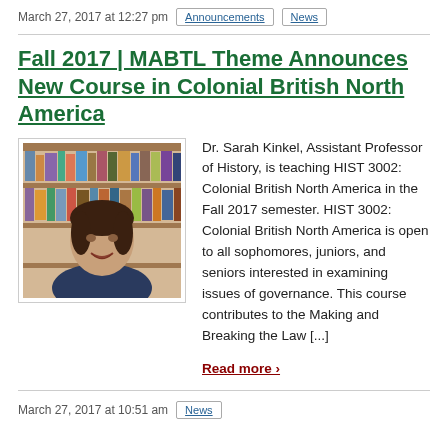March 27, 2017 at 12:27 pm  Announcements  News
Fall 2017 | MABTL Theme Announces New Course in Colonial British North America
[Figure (photo): Photo of Dr. Sarah Kinkel, a woman with brown hair, smiling, with bookshelves in the background.]
Dr. Sarah Kinkel, Assistant Professor of History, is teaching HIST 3002: Colonial British North America in the Fall 2017 semester. HIST 3002: Colonial British North America is open to all sophomores, juniors, and seniors interested in examining issues of governance. This course contributes to the Making and Breaking the Law [...]
Read more ›
March 27, 2017 at 10:51 am  News